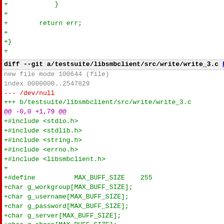[Figure (screenshot): Code diff view showing a git diff for testsuite/libsmbclient/src/write/write_3.c with added lines including includes, defines, global char arrays, and function definition start.]